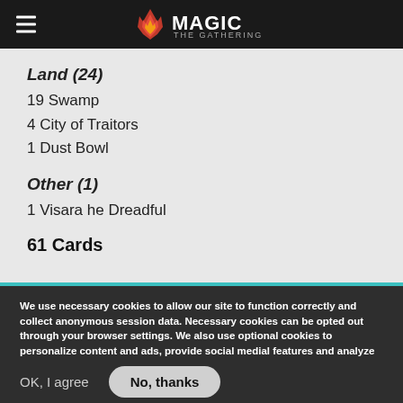Magic: The Gathering
Land (24)
19 Swamp
4 City of Traitors
1 Dust Bowl
Other (1)
1 Visara he Dreadful
61 Cards
We use necessary cookies to allow our site to function correctly and collect anonymous session data. Necessary cookies can be opted out through your browser settings. We also use optional cookies to personalize content and ads, provide social medial features and analyze web traffic. By clicking “OK, I agree,” you consent to optional cookies. (Learn more about cookies.)